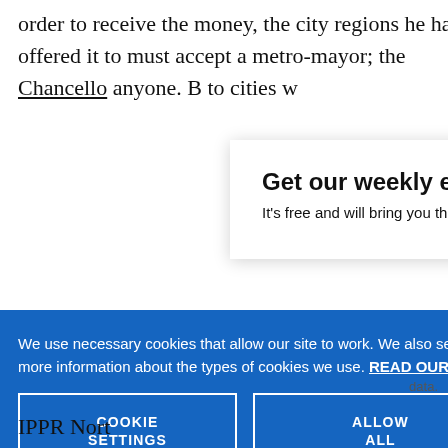order to receive the money, the city regions he has offered it to must accept a metro-mayor; the Chancellor has offered it to must accept a metro-mayor; the anyone. B to cities w
[Figure (screenshot): Email signup modal with title 'Get our weekly email' and subtitle 'It’s free and will bring you the best from', with a close (X) button in the top right corner]
[Figure (screenshot): Cookie consent banner with blue background containing text about necessary and optional cookies, a 'READ OUR COOKIES POLICY HERE' link, and two buttons: 'COOKIE SETTINGS' and 'ALLOW ALL COOKIES']
IPPR Nort